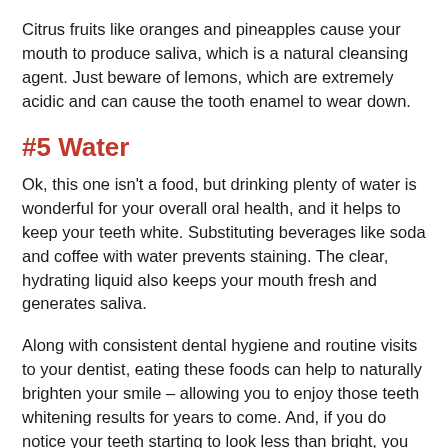Citrus fruits like oranges and pineapples cause your mouth to produce saliva, which is a natural cleansing agent. Just beware of lemons, which are extremely acidic and can cause the tooth enamel to wear down.
#5 Water
Ok, this one isn't a food, but drinking plenty of water is wonderful for your overall oral health, and it helps to keep your teeth white. Substituting beverages like soda and coffee with water prevents staining. The clear, hydrating liquid also keeps your mouth fresh and generates saliva.
Along with consistent dental hygiene and routine visits to your dentist, eating these foods can help to naturally brighten your smile – allowing you to enjoy those teeth whitening results for years to come. And, if you do notice your teeth starting to look less than bright, you can always visit your dentist for a quick whitening touchup.
Meet the Denti…